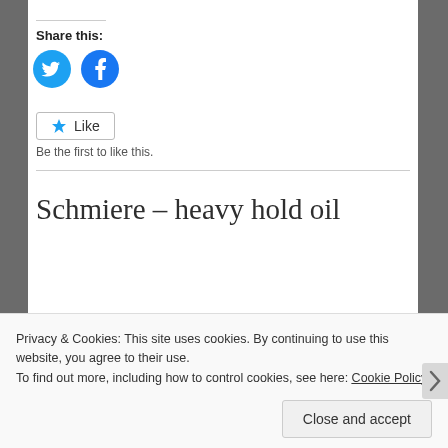Share this:
[Figure (illustration): Twitter and Facebook circular social share icons in blue]
[Figure (illustration): Like button with star icon and text 'Like']
Be the first to like this.
Schmiere – heavy hold oil
Privacy & Cookies: This site uses cookies. By continuing to use this website, you agree to their use.
To find out more, including how to control cookies, see here: Cookie Policy
Close and accept